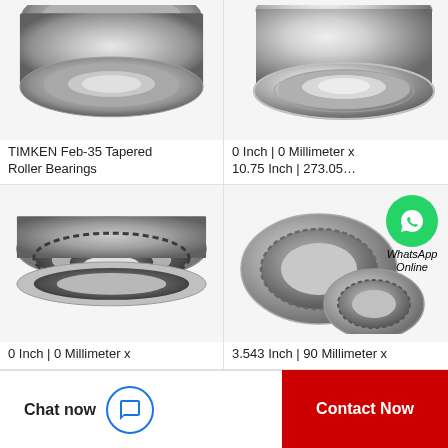[Figure (photo): Tapered roller bearing (TIMKEN) silver metallic, top-view cropped, top-left product cell]
TIMKEN Feb-35 Tapered Roller Bearings
[Figure (photo): Tapered roller bearing silver metallic, cropped top view, top-right product cell]
0 Inch | 0 Millimeter x 10.75 Inch | 273.05…
[Figure (photo): Dark gray tapered roller bearing complete assembly, bottom-left product cell]
0 Inch | 0 Millimeter x
[Figure (photo): Two tapered roller bearings with WhatsApp Online overlay icon, bottom-right product cell]
3.543 Inch | 90 Millimeter x
Chat now
Contact Now